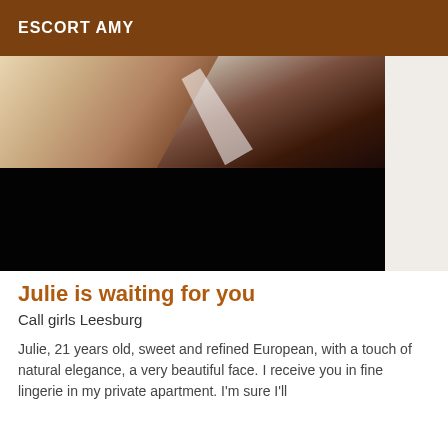ESCORT AMY
[Figure (photo): A photo split into two sections: the top portion shows a blurry close-up image with beige, brown and dark maroon tones (appears to be fabric or clothing), while the bottom portion is completely black. The right edge shows a small sliver of off-white background.]
Julie is waiting for you
Call girls Leesburg
Julie, 21 years old, sweet and refined European, with a touch of natural elegance, a very beautiful face. I receive you in fine lingerie in my private apartment. I'm sure I'll